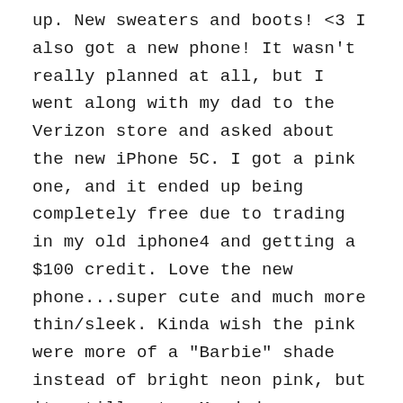up. New sweaters and boots! <3 I also got a new phone! It wasn't really planned at all, but I went along with my dad to the Verizon store and asked about the new iPhone 5C. I got a pink one, and it ended up being completely free due to trading in my old iphone4 and getting a $100 credit. Love the new phone...super cute and much more thin/sleek. Kinda wish the pink were more of a "Barbie" shade instead of bright neon pink, but its still cute. My dad came over a little on Saturday so I could show him how to take care of the kitty. I'm hoping things will go well next week and the kitty doesn't get stressed or anything and his eye issue doesn't return. He's been fairly good health-wise lately and seems to get along with my dad fine. Still worried about the little